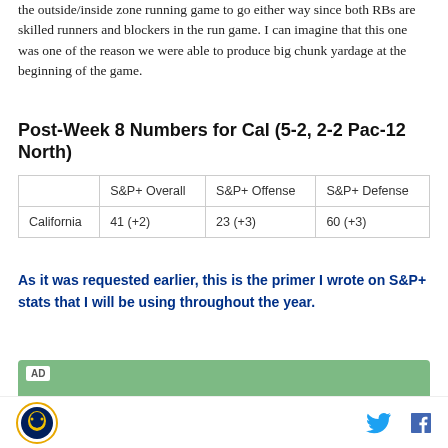the outside/inside zone running game to go either way since both RBs are skilled runners and blockers in the run game. I can imagine that this one was one of the reason we were able to produce big chunk yardage at the beginning of the game.
Post-Week 8 Numbers for Cal (5-2, 2-2 Pac-12 North)
|  | S&P+ Overall | S&P+ Offense | S&P+ Defense |
| --- | --- | --- | --- |
| California | 41 (+2) | 23 (+3) | 60 (+3) |
As it was requested earlier, this is the primer I wrote on S&P+ stats that I will be using throughout the year.
[Figure (other): Advertisement banner with green background and AD label]